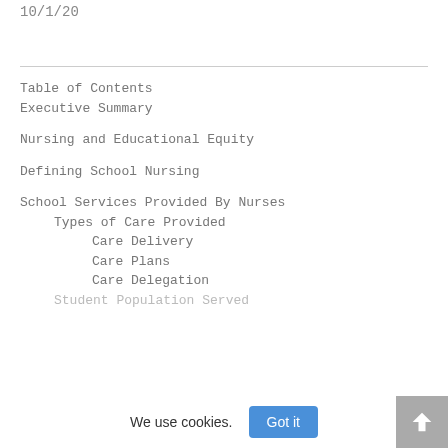10/1/20
Table of Contents
Executive Summary
Nursing and Educational Equity
Defining School Nursing
School Services Provided By Nurses
Types of Care Provided
Care Delivery
Care Plans
Care Delegation
Student Population Served